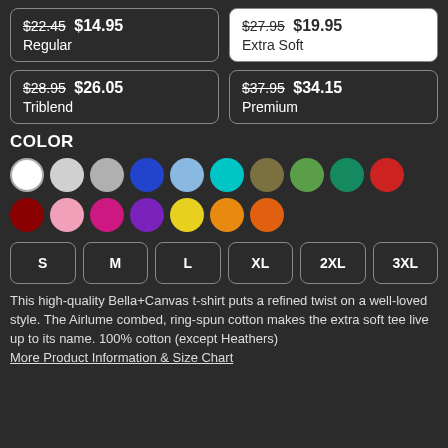$22.45 $14.95 Regular
$27.95 $19.95 Extra Soft (selected)
$28.95 $26.05 Triblend
$37.95 $34.15 Premium
COLOR
[Figure (infographic): Color swatches: white (selected), light gray, silver, blue, light blue, teal/cyan, olive, green, dark green/teal, red, dark red/maroon, pink, magenta/hot pink, purple, yellow, orange, dark orange]
Sizes: S, M, L, XL, 2XL, 3XL
This high-quality Bella+Canvas t-shirt puts a refined twist on a well-loved style. The Airlume combed, ring-spun cotton makes the extra soft tee live up to its name. 100% cotton (except Heathers)
More Product Information & Size Chart